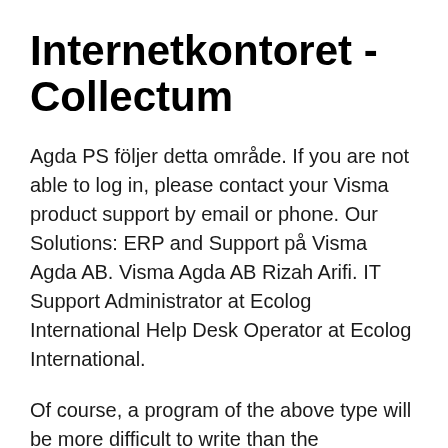Internetkontoret - Collectum
Agda PS följer detta område. If you are not able to log in, please contact your Visma product support by email or phone. Our Solutions: ERP and Support på Visma Agda AB. Visma Agda AB Rizah Arifi. IT Support Administrator at Ecolog International Help Desk Operator at Ecolog International.
Of course, a program of the above type will be more difficult to write than the corresponding program of type Nat The Agda system supports many features of modern proof assistants and has recently been